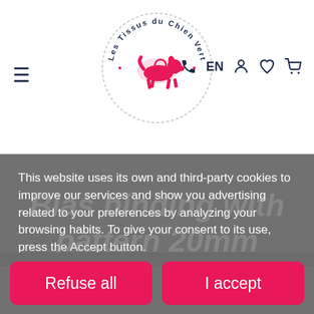[Figure (logo): Les Tissus du Chien Vert circular logo with a running dog in pink/red on a white background with dashed border]
This website uses its own and third-party cookies to improve our services and show you advertising related to your preferences by analyzing your browsing habits. To give your consent to its use, press the Accept button.
More information   Cookie settings
Discover our selection bias binding with patterns,
Refuse all
I accept